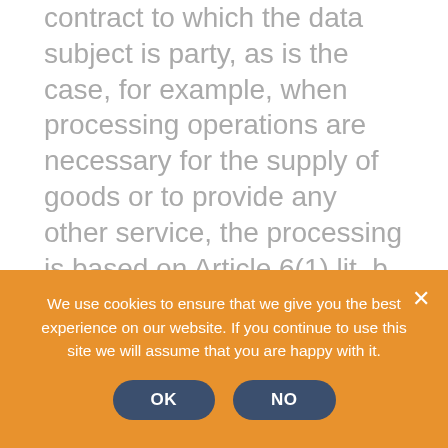contract to which the data subject is party, as is the case, for example, when processing operations are necessary for the supply of goods or to provide any other service, the processing is based on Article 6(1) lit. b GDPR. The same applies to such processing operations which are necessary for carrying out pre-contractual measures, for example in the case of inquiries concerning our products or services. Is our company subject to a legal obligation by which processing of personal data is required, such as for the fulfillment of tax obligations, the processing is based on Art. 6(1) lit. c GDPR. In rare cases, the
We use cookies to ensure that we give you the best experience on our website. If you continue to use this site we will assume that you are happy with it.